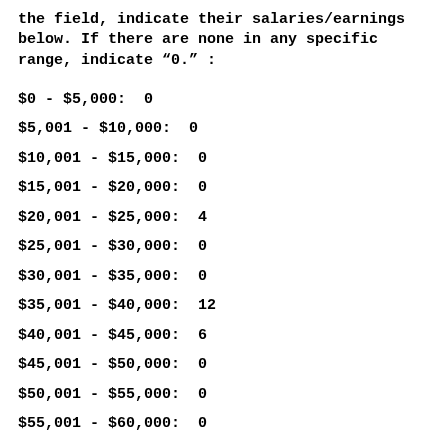the field, indicate their salaries/earnings below. If there are none in any specific range, indicate "0.":
$0 - $5,000:  0
$5,001 - $10,000:  0
$10,001 - $15,000:  0
$15,001 - $20,000:  0
$20,001 - $25,000:  4
$25,001 - $30,000:  0
$30,001 - $35,000:  0
$35,001 - $40,000:  12
$40,001 - $45,000:  6
$45,001 - $50,000:  0
$50,001 - $55,000:  0
$55,001 - $60,000:  0